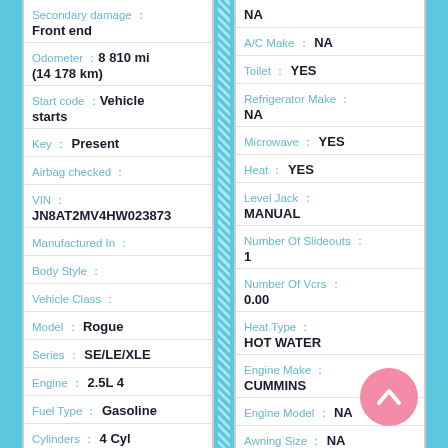Secondary damage : Front end
Odometer : 8 810 mi (14 178 km)
Start code : Vehicle starts
Key : Present
Airbag checked :
VIN : JN8AT2MV4HW023873
Manufactured In :
Body Style :
Vehicle Class :
Model : Rogue
Series : SE/LE/XLE
Engine : 2.5L 4
Fuel Type : Gasoline
Cylinders : 4 Cyl
NA
A/C Make : NA
Toilet : YES
Refrigerator Make : NA
Microwave : YES
Heat : YES
Level Jack : MANUAL
Number Of Slideouts : 1
Number Of Vcrs : 0.00
Heat Type : HOT WATER
Engine Make : CUMMINS
Engine Model : NA
Awning Size : NA